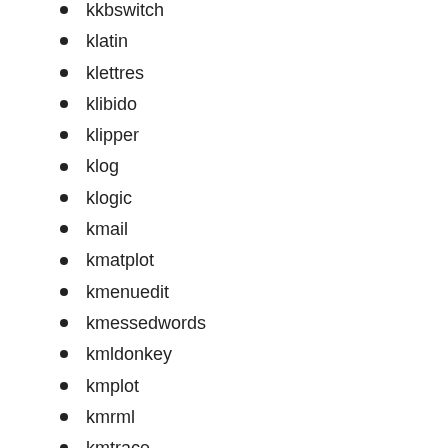kkbswitch
klatin
klettres
klibido
klipper
klog
klogic
kmail
kmatplot
kmenuedit
kmessedwords
kmldonkey
kmplot
kmrml
kmtrace
kmyfirewall
kmymoney2
knapster2